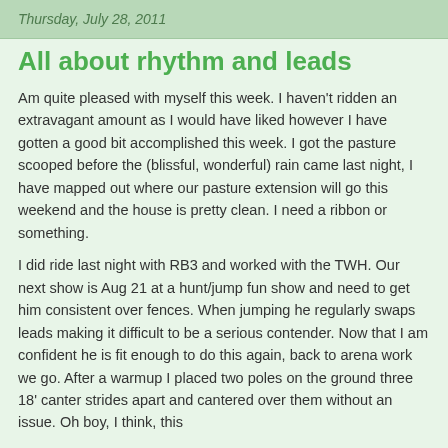Thursday, July 28, 2011
All about rhythm and leads
Am quite pleased with myself this week.  I haven't ridden an extravagant amount as I would have liked however I have gotten a good bit accomplished this week.  I got the pasture scooped before the (blissful, wonderful) rain came last night, I have mapped out where our pasture extension will go this weekend and the house is pretty clean.  I need a ribbon or something.
I did ride last night with RB3 and worked with the TWH.  Our next show is Aug 21 at a hunt/jump fun show and need to get him consistent over fences.  When jumping he regularly swaps leads making it difficult to be a serious contender.  Now that I am confident he is fit enough to do this again, back to arena work we go.  After a warmup I placed two poles on the ground three 18' canter strides apart and cantered over them without an issue.  Oh boy, I think, this